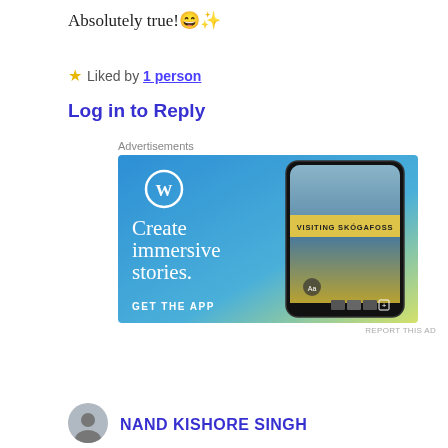Absolutely true! 😄✨
★ Liked by 1 person
Log in to Reply
Advertisements
[Figure (illustration): WordPress advertisement banner with gradient blue-to-yellow background, WordPress logo (W in circle), phone mockup showing 'VISITING SKÓGAFOSS' story, text 'Create immersive stories.' and 'GET THE APP']
REPORT THIS AD
NAND KISHORE SINGH